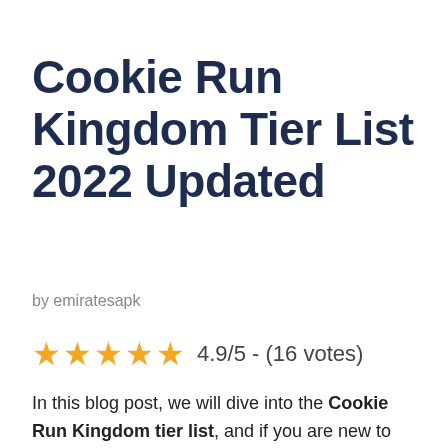Cookie Run Kingdom Tier List 2022 Updated
by emiratesapk
4.9/5 - (16 votes)
In this blog post, we will dive into the Cookie Run Kingdom tier list, and if you are new to the game, then we'd like to give a few words of